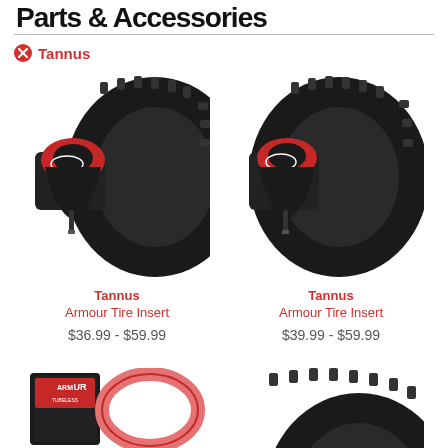Parts & Accessories
Tannus
[Figure (photo): Tannus Armour Tire Insert product photo showing cross-section of bike tire with red foam insert seated on rim]
Tannus
Armour Tire Insert
$36.99 - $59.99
[Figure (photo): Tannus Armour Tire Insert product photo showing cross-section of bike tire with red foam insert seated on rim, slightly different angle]
Tannus
Armour Tire Insert
$39.99 - $59.99
[Figure (photo): Tannus Armour Tubeless packaging box with red tire insert visible beside it]
[Figure (photo): Black mountain bike tire partial view]